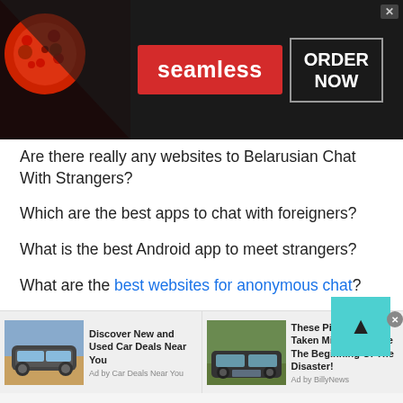[Figure (screenshot): Seamless food delivery advertisement banner with pizza image on left, red Seamless logo in center, and ORDER NOW button on right]
Are there really any websites to Belarusian Chat With Strangers?
Which are the best apps to chat with foreigners?
What is the best Android app to meet strangers?
What are the best websites for anonymous chat?
What are genuine sites where you can talk to strangers?
Why do I feel like sharing my personal life with strangers?
What is the best website/ app to Belarusian Chat With Strangers?
Are there really any websites to Belarusian Chat With Strangers?
[Figure (screenshot): Bottom advertisement bar with two car ads: 'Discover New and Used Car Deals Near You' and 'These Pictures Was Taken Minutes Before The Beginning Of The Disaster!']